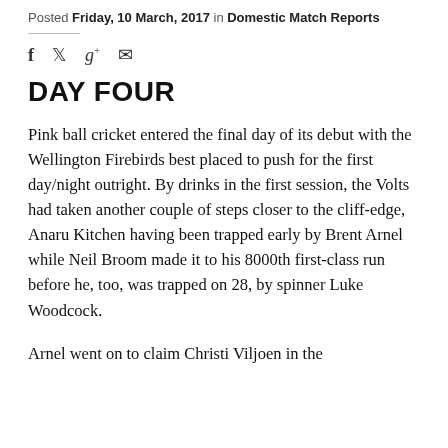Posted Friday, 10 March, 2017 in Domestic Match Reports
[Figure (other): Social media sharing icons: Facebook (f), Twitter (bird), Google+ (g+), Email (envelope)]
DAY FOUR
Pink ball cricket entered the final day of its debut with the Wellington Firebirds best placed to push for the first day/night outright. By drinks in the first session, the Volts had taken another couple of steps closer to the cliff-edge, Anaru Kitchen having been trapped early by Brent Arnel while Neil Broom made it to his 8000th first-class run before he, too, was trapped on 28, by spinner Luke Woodcock.
Arnel went on to claim Christi Viljoen in the